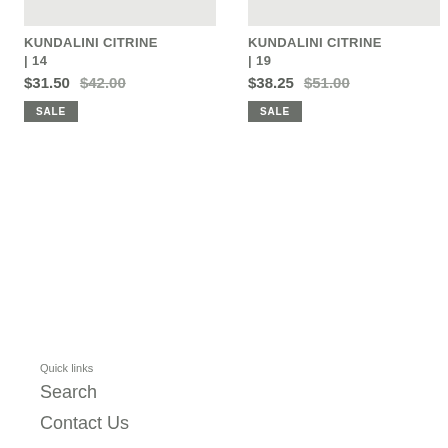[Figure (photo): Product image placeholder for KUNDALINI CITRINE 14 (light gray rectangle)]
KUNDALINI CITRINE | 14
$31.50  $42.00
SALE
[Figure (photo): Product image placeholder for KUNDALINI CITRINE 19 (light gray rectangle)]
KUNDALINI CITRINE | 19
$38.25  $51.00
SALE
Quick links
Search
Contact Us